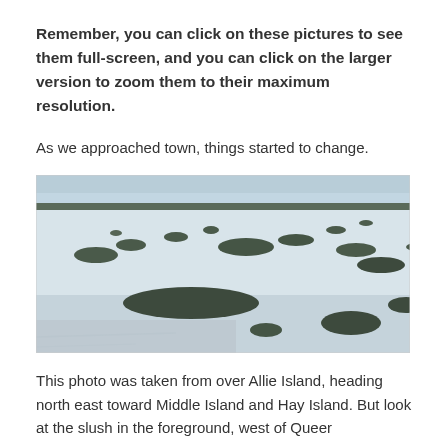Remember, you can click on these pictures to see them full-screen, and you can click on the larger version to zoom them to their maximum resolution.
As we approached town, things started to change.
[Figure (photo): Aerial photograph of a frozen lake or bay with numerous tree-covered islands visible in the snow and ice. The horizon shows dark treeline against a pale sky. The foreground shows slushy or wet ice.]
This photo was taken from over Allie Island, heading north east toward Middle Island and Hay Island. But look at the slush in the foreground, west of Queer